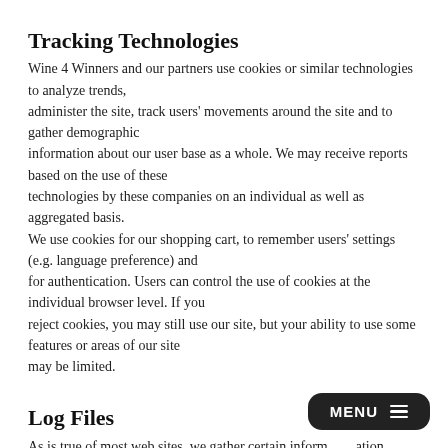Tracking Technologies
Wine 4 Winners and our partners use cookies or similar technologies to analyze trends, administer the site, track users' movements around the site and to gather demographic information about our user base as a whole. We may receive reports based on the use of these technologies by these companies on an individual as well as aggregated basis. We use cookies for our shopping cart, to remember users' settings (e.g. language preference) and for authentication. Users can control the use of cookies at the individual browser level. If you reject cookies, you may still use our site, but your ability to use some features or areas of our site may be limited.
Log Files
As is true of most web sites, we gather certain information automatically and store it in log files.